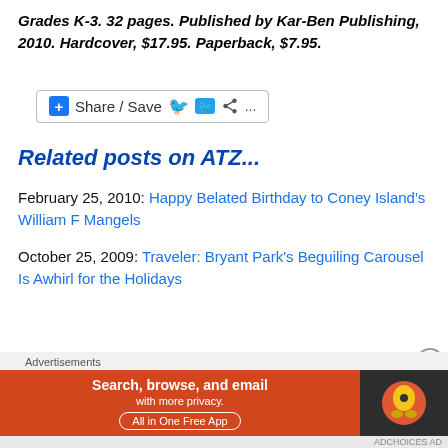Grades K-3. 32 pages. Published by Kar-Ben Publishing, 2010. Hardcover, $17.95. Paperback, $7.95.
[Figure (other): Share/Save social media button bar with Facebook, Twitter, and share icons]
Related posts on ATZ...
February 25, 2010: Happy Belated Birthday to Coney Island's William F Mangels
October 25, 2009: Traveler: Bryant Park's Beguiling Carousel Is Awhirl for the Holidays
[Figure (screenshot): DuckDuckGo advertisement banner: Search, browse, and email with more privacy. All in One Free App.]